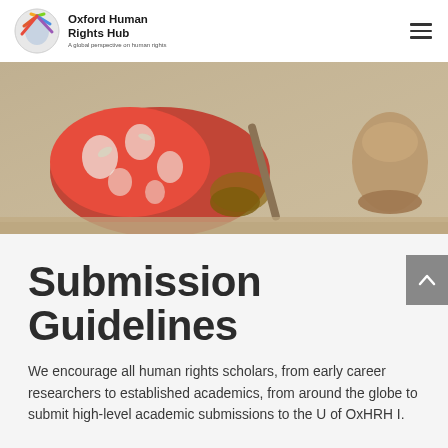Oxford Human Rights Hub — A global perspective on human rights
[Figure (photo): Close-up photo of a person lying on sandy ground, wearing a red floral-patterned garment, with feet visible and what appears to be a wooden object nearby.]
Submission Guidelines
We encourage all human rights scholars, from early career researchers to established academics, from around the globe to submit high-level academic submissions to the U of OxHRH I.